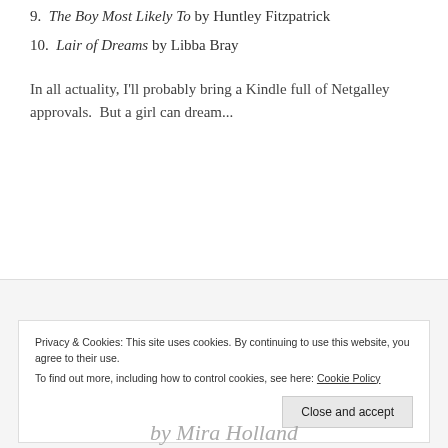9. The Boy Most Likely To by Huntley Fitzpatrick
10. Lair of Dreams by Libba Bray
In all actuality, I'll probably bring a Kindle full of Netgalley approvals.  But a girl can dream...
Privacy & Cookies: This site uses cookies. By continuing to use this website, you agree to their use.
To find out more, including how to control cookies, see here: Cookie Policy
by Mira Holland